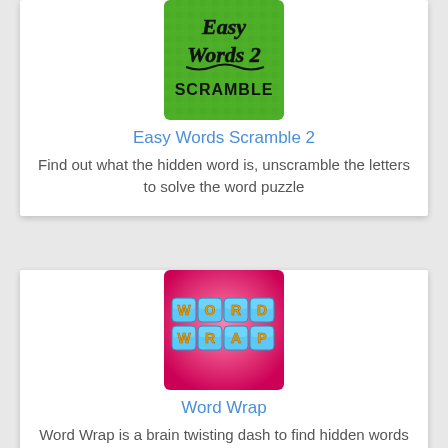[Figure (logo): Easy Words Scramble 2 app icon: green textured background with black hand-drawn text reading 'Easy Words 2 Scramble']
Easy Words Scramble 2
Find out what the hidden word is, unscramble the letters to solve the word puzzle
[Figure (logo): Word Wrap app icon: pink/magenta background with 3D blue letter tiles spelling 'WORD WRAP' in gold letters]
Word Wrap
Word Wrap is a brain twisting dash to find hidden words against the clock. See words not letters and don't forget the extra bonuses